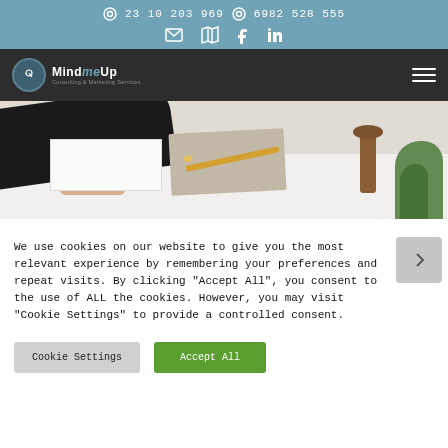23 10 203 969  6982 528 555
[Figure (screenshot): Navigation bar with MindMeUp logo on dark background and hamburger menu icon]
[Figure (photo): Person in dark clothing writing at a white table with a notebook, pencil, wooden lamp, and small plant]
We use cookies on our website to give you the most relevant experience by remembering your preferences and repeat visits. By clicking "Accept All", you consent to the use of ALL the cookies. However, you may visit "Cookie Settings" to provide a controlled consent.
Cookie Settings    Accept All